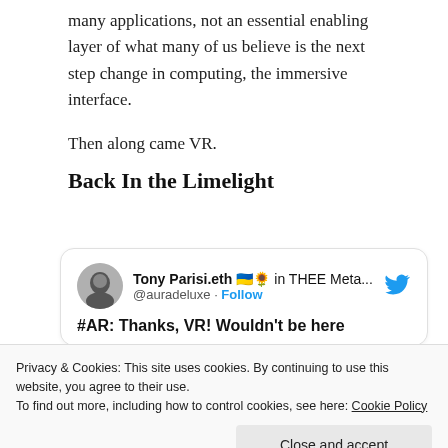many applications, not an essential enabling layer of what many of us believe is the next step change in computing, the immersive interface.
Then along came VR.
Back In the Limelight
[Figure (screenshot): Embedded tweet from Tony Parisi.eth with Ukrainian flag and sunflower emojis, handle @auradeluxe, with a Follow button and Twitter bird logo. Tweet text begins: #AR: Thanks, VR! Wouldn't be here...]
Privacy & Cookies: This site uses cookies. By continuing to use this website, you agree to their use.
To find out more, including how to control cookies, see here: Cookie Policy
Close and accept